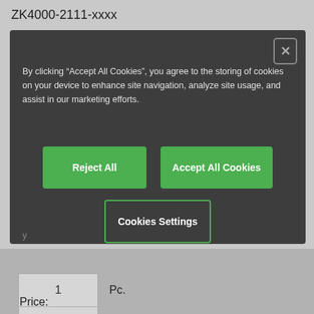ZK4000-2111-xxxx
[Figure (screenshot): Cookie consent modal dialog with dark background showing options: Reject All, Accept All Cookies, and Cookies Settings buttons on a dark grey overlay. A close button (X) appears in the top right corner of the modal.]
By clicking “Accept All Cookies”, you agree to the storing of cookies on your device to enhance site navigation, analyze site usage, and assist in our marketing efforts.
Reject All
Accept All Cookies
Cookies Settings
| Value | Unit |
| --- | --- |
| 1 | Pc. |
| 1 | Length (m) |
Price: